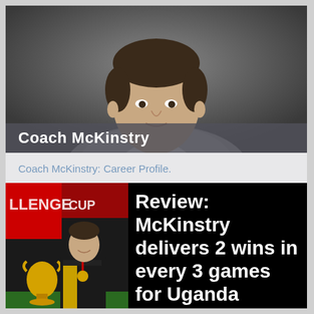[Figure (photo): Professional headshot of Coach McKinstry against a dark gray background, wearing a gray blazer.]
Coach McKinstry
Coach McKinstry: Career Profile.
[Figure (photo): Coach McKinstry holding a trophy with a gold medal at what appears to be the Challenge Cup, with red banners visible in the background.]
Review: McKinstry delivers 2 wins in every 3 games for Uganda